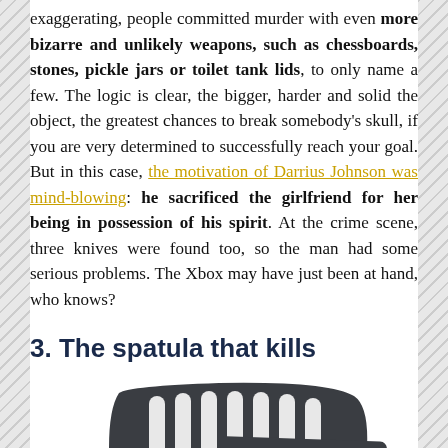exaggerating, people committed murder with even more bizarre and unlikely weapons, such as chessboards, stones, pickle jars or toilet tank lids, to only name a few. The logic is clear, the bigger, harder and solid the object, the greatest chances to break somebody's skull, if you are very determined to successfully reach your goal. But in this case, the motivation of Darrius Johnson was mind-blowing: he sacrificed the girlfriend for her being in possession of his spirit. At the crime scene, three knives were found too, so the man had some serious problems. The Xbox may have just been at hand, who knows?
3. The spatula that kills
[Figure (photo): A dark grey/charcoal spatula (kitchen turner) with slotted head, photographed from above against a white background.]